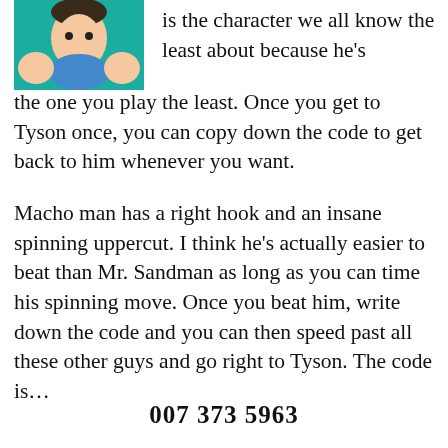[Figure (illustration): Cartoon illustration of a character with teal/green background, partial view showing upper body]
is the character we all know the least about because he's the one you play the least. Once you get to Tyson once, you can copy down the code to get back to him whenever you want.
Macho man has a right hook and an insane spinning uppercut. I think he's actually easier to beat than Mr. Sandman as long as you can time his spinning move. Once you beat him, write down the code and you can then speed past all these other guys and go right to Tyson. The code is...
007 373 5963